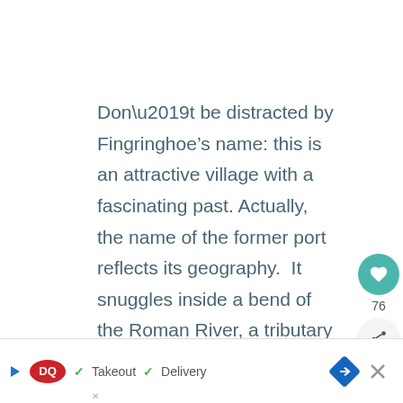Don’t be distracted by Fingringhoe’s name: this is an attractive village with a fascinating past. Actually, the name of the former port reflects its geography. It snuggles inside a bend of the Roman River, a tributary of the Colne.
The suffix “hoe” means a protruding piece of land like a heel which encloses the village inside the meander. The “ing” comes from the ancient “ingas” or people and the “Fingr” is likely to refer to the shape of the site.
[Figure (screenshot): Mobile UI overlay: heart/like button (teal circle with heart icon), like count 76, share button (light circle with share icon)]
[Figure (screenshot): Advertisement banner: Dairy Queen logo with play arrow, checkmark Takeout, checkmark Delivery, blue diamond direction icon, close X button]